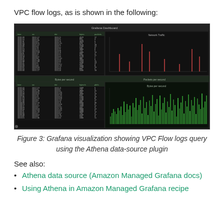VPC flow logs, as is shown in the following:
[Figure (screenshot): Grafana dashboard screenshot showing VPC Flow logs query with a data table on the left and time-series charts on the right. Upper chart shows sparse spikes, lower chart shows a dense green area/bar chart visualization.]
Figure 3: Grafana visualization showing VPC Flow logs query using the Athena data-source plugin
See also:
Athena data source (Amazon Managed Grafana docs)
Using Athena in Amazon Managed Grafana recipe